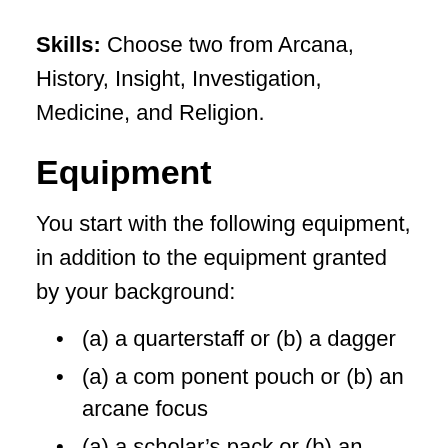Skills: Choose two from Arcana, History, Insight, Investigation, Medicine, and Religion.
Equipment
You start with the following equipment, in addition to the equipment granted by your background:
(a) a quarterstaff or (b) a dagger
(a) a com ponent pouch or (b) an arcane focus
(a) a scholar’s pack or (b) an explorer’s pack